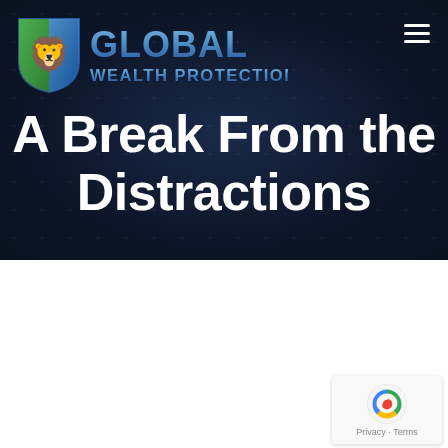[Figure (logo): Global Wealth Protection logo: shield with green and blue halves, lion rampant in navy, text GLOBAL WEALTH PROTECTION in blue metallic letters]
A Break From the Distractions
January 24, 2014
By: Kelly Diamond, Publisher